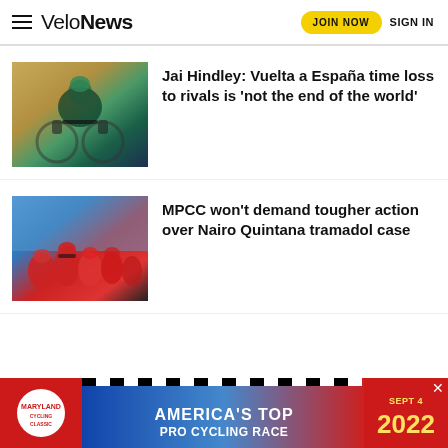VeloNews | JOIN NOW | SIGN IN
[Figure (photo): Cyclist in teal/blue kit leaning over handlebars racing on a road, with golden field background]
Jai Hindley: Vuelta a España time loss to rivals is 'not the end of the world'
[Figure (photo): Cyclist in red kit among a group of riders with blue sky background]
MPCC won't demand tougher action over Nairo Quintana tramadol case
[Figure (infographic): Advertisement banner: Maryland cycling event — Americas Top Pro Cycling Race, Sept 4 2022]